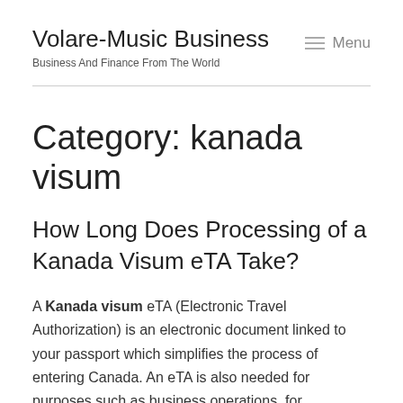Volare-Music Business
Business And Finance From The World
Category: kanada visum
How Long Does Processing of a Kanada Visum eTA Take?
A Kanada visum eTA (Electronic Travel Authorization) is an electronic document linked to your passport which simplifies the process of entering Canada. An eTA is also needed for purposes such as business operations, for transportation, or as a tourist for less than six months. However, it doesn't guarantee